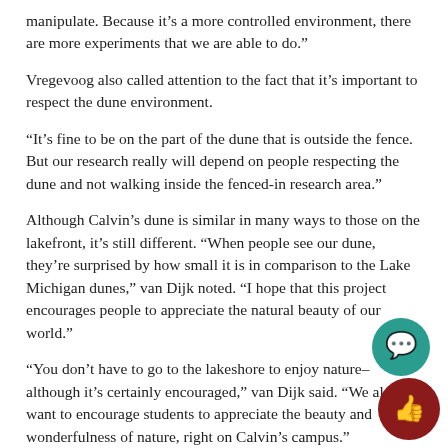manipulate. Because it’s a more controlled environment, there are more experiments that we are able to do.”
Vregevoog also called attention to the fact that it’s important to respect the dune environment.
“It’s fine to be on the part of the dune that is outside the fence. But our research really will depend on people respecting the dune and not walking inside the fenced-in research area.”
Although Calvin’s dune is similar in many ways to those on the lakefront, it’s still different. “When people see our dune, they’re surprised by how small it is in comparison to the Lake Michigan dunes,” van Dijk noted. “I hope that this project encourages people to appreciate the natural beauty of our world.”
“You don’t have to go to the lakeshore to enjoy nature–although it’s certainly encouraged,” van Dijk said. “We also want to encourage students to appreciate the beauty and wonderfulness of nature, right on Calvin’s campus.”
[Figure (illustration): Two circular icon buttons in the bottom-right corner: a teal/green chat bubble icon and a dark red thumbs-up icon.]